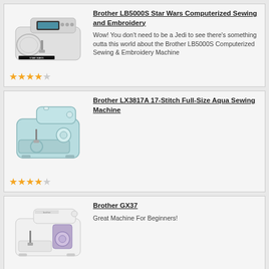[Figure (photo): Brother LB5000S Star Wars Computerized Sewing and Embroidery Machine photo]
Brother LB5000S Star Wars Computerized Sewing and Embroidery
Wow! You don't need to be a Jedi to see there's something outta this world about the Brother LB5000S Computerized Sewing & Embroidery Machine
[Figure (photo): Brother LX3817A Aqua Sewing Machine photo]
Brother LX3817A 17-Stitch Full-Size Aqua Sewing Machine
[Figure (photo): Brother GX37 Sewing Machine photo]
Brother GX37
Great Machine For Beginners!
[Figure (photo): Singer Start 1304 Sewing Machine photo]
Singer Start 1304
As Cute As A Button